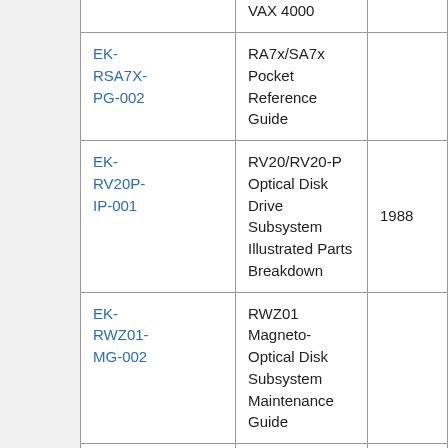| Order Number | Description | Year |
| --- | --- | --- |
| EK-RSA7X-PG-002 | RA7x/SA7x Pocket Reference Guide |  |
| EK-RV20P-IP-001 | RV20/RV20-P Optical Disk Drive Subsystem Illustrated Parts Breakdown | 1988 |
| EK-RWZ01-MG-002 | RWZ01 Magneto-Optical Disk Subsystem Maintenance Guide |  |
| EK-RWZ01-UG-002 | RWZ01 Magneto-Optical Disk Subsystem Users Guide |  |
| EK-RWZ21- | RWZ21 Magneto-Optical Disk Unit |  |